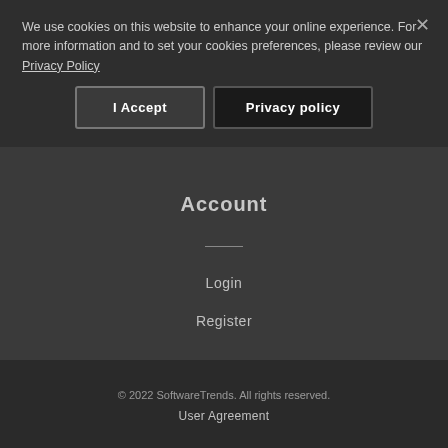We use cookies on this website to enhance your online experience. For more information and to set your cookies preferences, please review our Privacy Policy
I Accept
Privacy policy
Resources
Products
Companies
Account
Login
Register
© 2022 SoftwareTrends. All rights reserved.
User Agreement
Privacy Policy